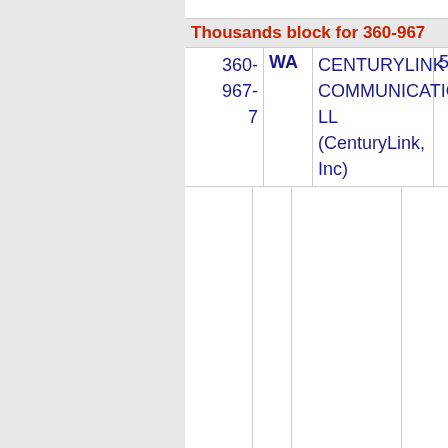Thousands block for 360-967
| Number | State | Company | Code |
| --- | --- | --- | --- |
| 360-967-7 | WA | CENTURYLINK COMMUNICATIONS, LL (CenturyLink, Inc) | 508J |
Thousands block for 360-973
| Number | State | Company | Code |
| --- | --- | --- | --- |
| 360-973-6 | WA | CENTURYLINK COMMUNICATIONS, LL (CenturyLink, Inc) | 508J |